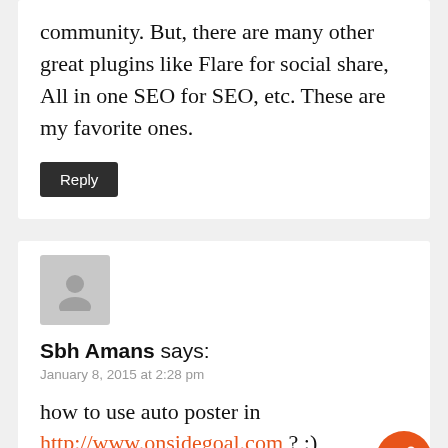community. But, there are many other great plugins like Flare for social share, All in one SEO for SEO, etc. These are my favorite ones.
Reply
Sbh Amans says:
January 8, 2015 at 2:28 pm
how to use auto poster in http://www.onsidegoal.com ? :)